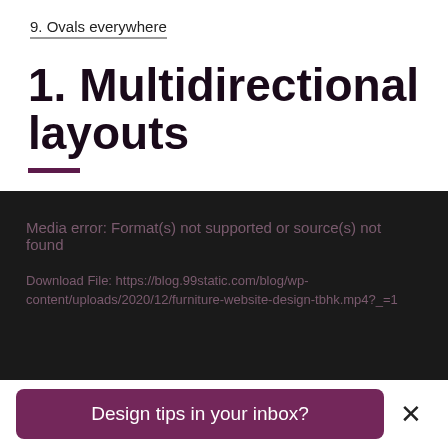9. Ovals everywhere
1. Multidirectional layouts
[Figure (screenshot): Media error screen on dark background. Text reads: 'Media error: Format(s) not supported or source(s) not found' followed by 'Download File: https://blog.99static.com/blog/wp-content/uploads/2020/12/furniture-website-design-tbhk.mp4?_=1']
Design tips in your inbox?